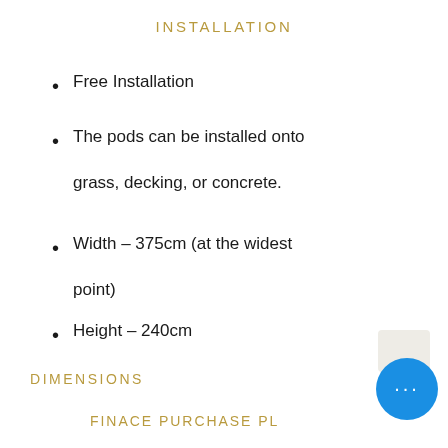INSTALLATION
Free Installation
The pods can be installed onto grass, decking, or concrete.
Width – 375cm (at the widest point)
Height – 240cm
DIMENSIONS
FINACE PURCHASE PL…
Low one-month deposit